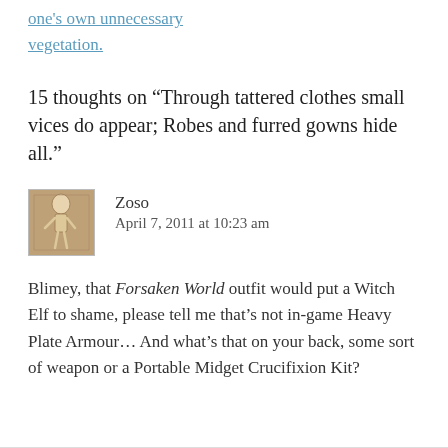one's own unnecessary vegetation.
15 thoughts on “Through tattered clothes small vices do appear; Robes and furred gowns hide all.”
[Figure (photo): Avatar image of a skeleton sitting at a desk]
Zoso
April 7, 2011 at 10:23 am
Blimey, that Forsaken World outfit would put a Witch Elf to shame, please tell me that’s not in-game Heavy Plate Armour… And what’s that on your back, some sort of weapon or a Portable Midget Crucifixion Kit?